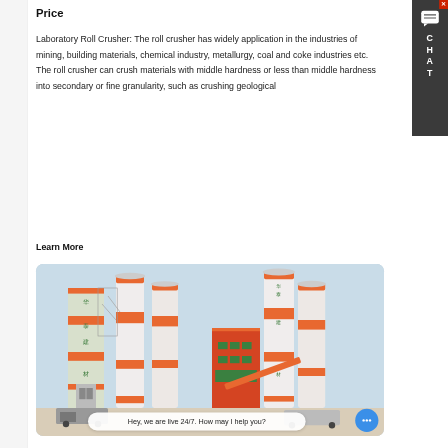Price
Laboratory Roll Crusher: The roll crusher has widely application in the industries of mining, building materials, chemical industry, metallurgy, coal and coke industries etc. The roll crusher can crush materials with middle hardness or less than middle hardness into secondary or fine granularity, such as crushing geological
Learn More
[Figure (photo): Industrial concrete batching plant with tall white and orange silos, against a light blue sky. Two sets of silos visible, with green Chinese characters. A live chat interface overlay reads 'Hey, we are live 24/7. How may I help you?']